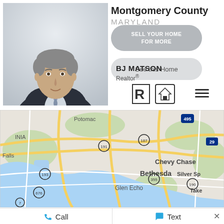[Figure (photo): Headshot of male real estate agent BJ Matson in suit and tie, with grey/white marble-like background. Montgomery County Maryland logo text overlaid.]
Montgomery County MARYLAND
BJ MATSON
Realtor®
[Figure (other): Button: SELL YOUR HOME FOR MORE]
[Figure (other): Button: See this Home]
[Figure (other): Realtor and Equal Housing logos]
[Figure (map): Google Maps view of Montgomery County Maryland showing Bethesda, Chevy Chase, Glen Echo, Potomac, Silver Spring areas with route numbers 187, 191, 193, 355, 190, 676, 495, 29, 7]
Sort Option
Call
Text